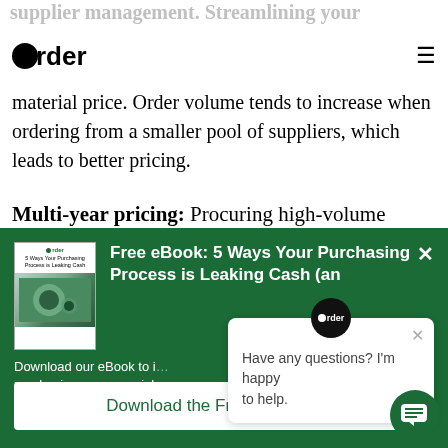Order (logo with hamburger menu)
material price. Order volume tends to increase when ordering from a smaller pool of suppliers, which leads to better pricing.
Multi-year pricing: Procuring high-volume
[Figure (screenshot): Green popup banner promoting free eBook: '5 Ways Your Purchasing Process is Leaking Cash (and How to Fix It)' with eBook cover image on left and text on right, plus a Download the Free eBook Now button at the bottom.]
Download our eBook to i... purchasing process migh... it.
[Figure (screenshot): White chat popup with Order logo at top, close button, and text: 'Have any questions? I'm happy to help.']
Have any questions? I'm happy to help.